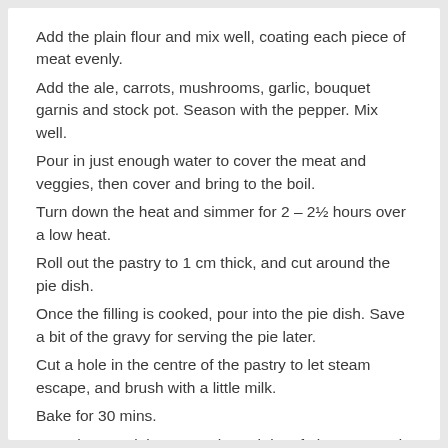Add the plain flour and mix well, coating each piece of meat evenly.
Add the ale, carrots, mushrooms, garlic, bouquet garnis and stock pot. Season with the pepper. Mix well.
Pour in just enough water to cover the meat and veggies, then cover and bring to the boil.
Turn down the heat and simmer for 2 – 2½ hours over a low heat.
Roll out the pastry to 1 cm thick, and cut around the pie dish.
Once the filling is cooked, pour into the pie dish. Save a bit of the gravy for serving the pie later.
Cut a hole in the centre of the pastry to let steam escape, and brush with a little milk.
Bake for 30 mins.
Heat the remaining gravy through in a frying pan, and serve the pie with mash and veggies!